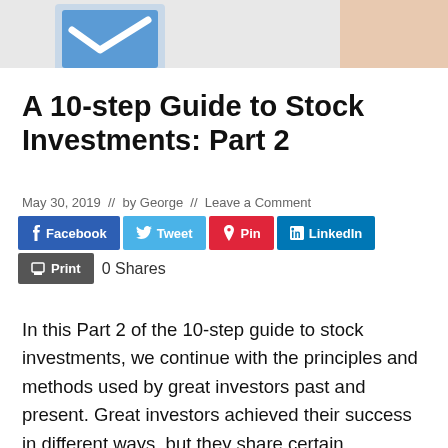[Figure (photo): Top portion of a webpage screenshot showing a partial image with a blue checkmark/envelope icon on the left and a partial face/skin tone on the right against a light gray background.]
A 10-step Guide to Stock Investments: Part 2
May 30, 2019  //  by George  //  Leave a Comment
[Figure (infographic): Social sharing buttons row: Facebook (blue), Tweet (light blue), Pin (red), LinkedIn (dark blue), Print (gray). Below: 0 Shares text.]
In this Part 2 of the 10-step guide to stock investments, we continue with the principles and methods used by great investors past and present. Great investors achieved their success in different ways, but they share certain characteristics.